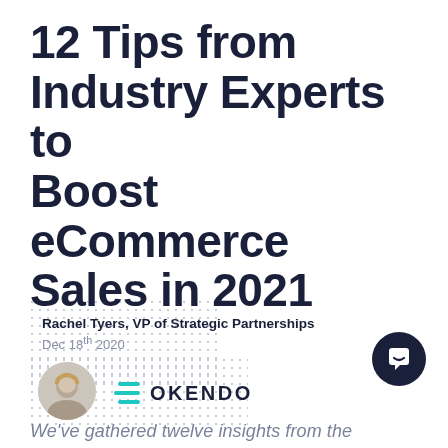12 Tips from Industry Experts to Boost eCommerce Sales in 2021
Rachel Tyers, VP of Strategic Partnerships
Dec 18th 2020
[Figure (logo): Okendo logo with teal horizontal lines icon and the text OKENDO in dark navy]
[Figure (photo): Round avatar photo of Rachel Tyers]
[Figure (other): Dark navy circular chat/support button with white speech bubble icon]
We've gathered twelve insights from the